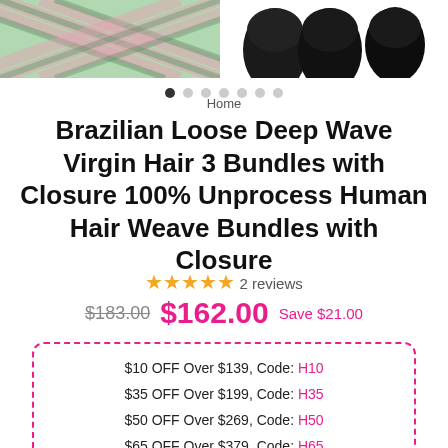[Figure (photo): Product image carousel showing a plaid green-pink garment on the left and black hair bundles on the right with navigation dots below]
Home
Brazilian Loose Deep Wave Virgin Hair 3 Bundles with Closure 100% Unprocess Human Hair Weave Bundles with Closure
★★★★★ 2 reviews
$183.00  $162.00  Save $21.00
$10 OFF Over $139, Code: H10
$35 OFF Over $199, Code: H35
$50 OFF Over $269, Code: H50
$65 OFF Over $379 ,Code: H65